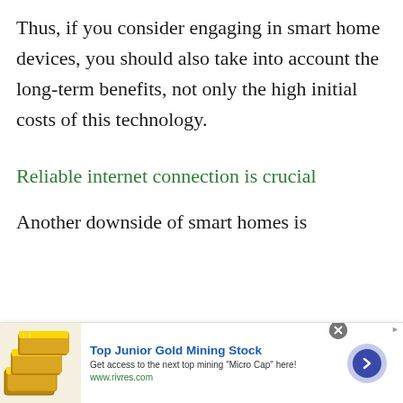Thus, if you consider engaging in smart home devices, you should also take into account the long-term benefits, not only the high initial costs of this technology.
Reliable internet connection is crucial
Another downside of smart homes is
[Figure (other): Advertisement banner: Top Junior Gold Mining Stock. Get access to the next top mining Micro Cap here! www.rivres.com. Shows gold bars image on left and a blue arrow button on right.]